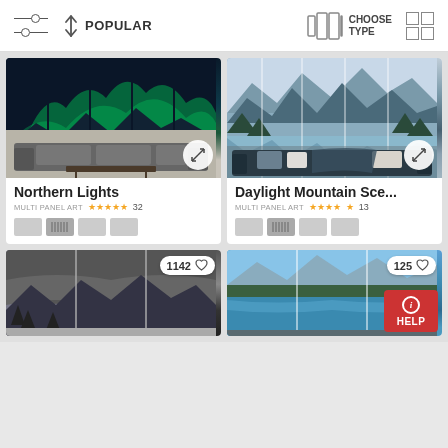Filter | POPULAR sort | CHOOSE TYPE | Grid view
[Figure (photo): Northern Lights multi-panel art displayed above a grey sofa in a living room. Aurora borealis over mountain lake.]
Northern Lights
MULTI PANEL ART  ★★★★★ 32
[Figure (photo): Daylight Mountain Scene multi-panel art displayed above a dark sofa. Mountains and lake reflection.]
Daylight Mountain Sce...
MULTI PANEL ART  ★★★★½ 13
[Figure (photo): Storm clouds mountain landscape multi-panel art. Like count: 1142.]
[Figure (photo): Lake and mountain landscape multi-panel art. Like count: 125. Help button visible.]